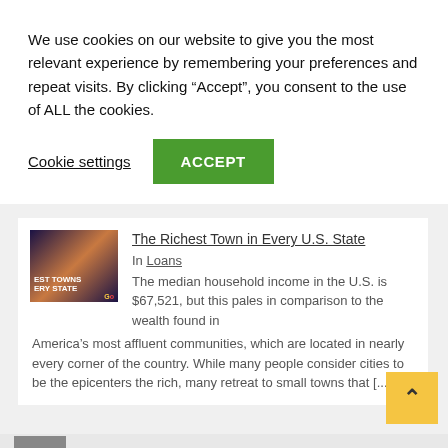We use cookies on our website to give you the most relevant experience by remembering your preferences and repeat visits. By clicking “Accept”, you consent to the use of ALL the cookies.
Cookie settings   ACCEPT
[Figure (photo): Thumbnail image for article about richest towns, showing a cityscape at night with text 'EST TOWNS ERY STATE' overlaid]
The Richest Town in Every U.S. State
In Loans
The median household income in the U.S. is $67,521, but this pales in comparison to the wealth found in America’s most affluent communities, which are located in nearly every corner of the country. While many people consider cities to be the epicenters the rich, many retreat to small towns that [...]